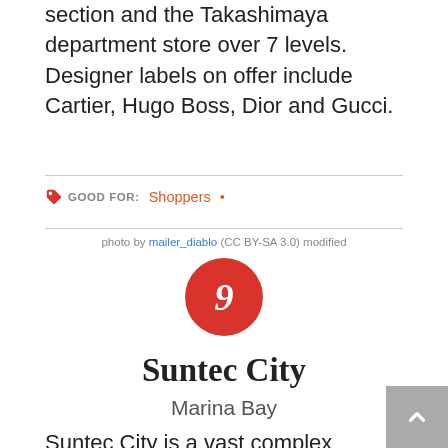section and the Takashimaya department store over 7 levels. Designer labels on offer include Cartier, Hugo Boss, Dior and Gucci.
GOOD FOR: Shoppers •
photo by mailer_diablo (CC BY-SA 3.0) modified
9
Suntec City
Marina Bay
Suntec City is a vast complex boasting a shopping mall, an exhibition and conference centre and office tower blocks